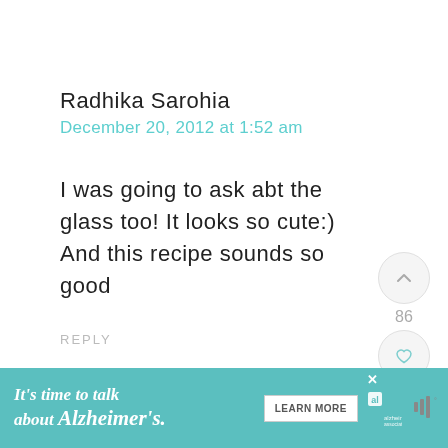Radhika Sarohia
December 20, 2012 at 1:52 am
I was going to ask abt the glass too! It looks so cute:)
And this recipe sounds so good
REPLY
[Figure (infographic): Up arrow button with vote count 86 and heart/like button]
[Figure (infographic): Teal circular search/magnify button]
[Figure (infographic): Advertisement banner: It's time to talk about Alzheimer's. LEARN MORE button, Alzheimer's Association logo, close button]